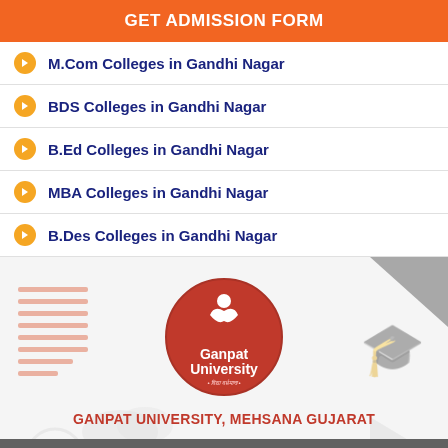GET ADMISSION FORM
M.Com Colleges in Gandhi Nagar
BDS Colleges in Gandhi Nagar
B.Ed Colleges in Gandhi Nagar
MBA Colleges in Gandhi Nagar
B.Des Colleges in Gandhi Nagar
[Figure (logo): Ganpat University circular red logo with white book/person icon]
GANPAT UNIVERSITY, MEHSANA GUJARAT
Admissions Open for All Courses 2022
APPLY NOW